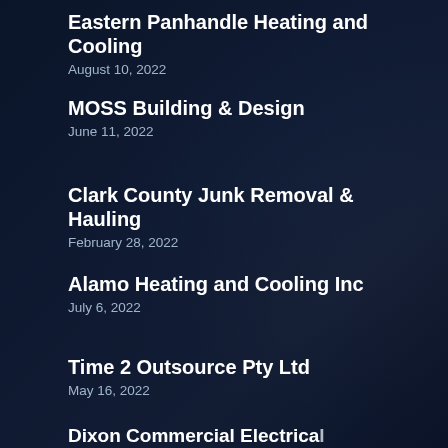Eastern Panhandle Heating and Cooling
August 10, 2022
MOSS Building & Design
June 11, 2022
Clark County Junk Removal & Hauling
February 28, 2022
Alamo Heating and Cooling Inc
July 6, 2022
Time 2 Outsource Pty Ltd
May 16, 2022
Dixon Commercial Electrical